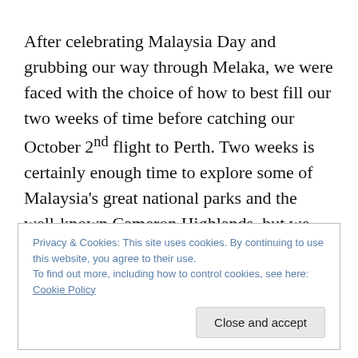After celebrating Malaysia Day and grubbing our way through Melaka, we were faced with the choice of how to best fill our two weeks of time before catching our October 2nd flight to Perth. Two weeks is certainly enough time to explore some of Malaysia's great national parks and the well-known Cameron Highlands, but we realized that after 8 months on the road, we had hit a bit of a wall; we were
Privacy & Cookies: This site uses cookies. By continuing to use this website, you agree to their use. To find out more, including how to control cookies, see here: Cookie Policy